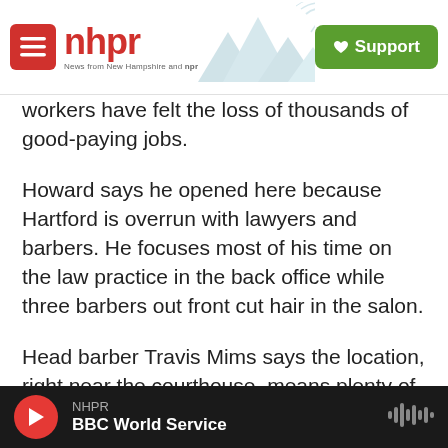nhpr — News from New Hampshire and NPR | Support
workers have felt the loss of thousands of good-paying jobs.
Howard says he opened here because Hartford is overrun with lawyers and barbers. He focuses most of his time on the law practice in the back office while three barbers out front cut hair in the salon.
Head barber Travis Mims says the location, right near the courthouse, means plenty of walk-in business.
TRAVIS MIMS: You can see that...
NHPR — BBC World Service